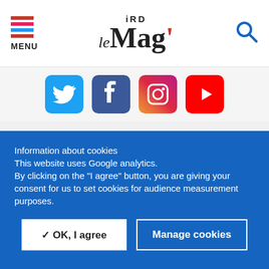MENU | IRD le Mag'
[Figure (logo): Social media icons: Twitter, Facebook, Instagram, YouTube]
[Figure (logo): IRD logo in red with Media label in blue]
Information about cookies
This website uses Google analytics.
By clicking on the "I agree" button, you are giving your consent for us to set cookies for audience measurement purposes.
✓ OK, I agree   Manage cookies